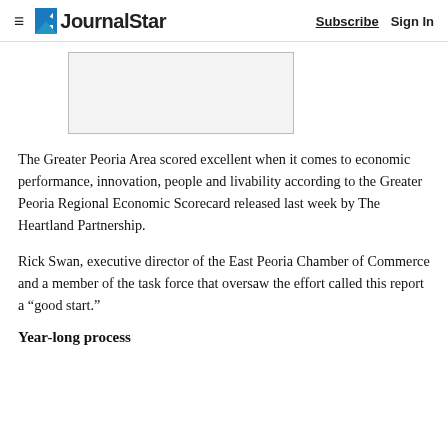≡  JournalStar   Subscribe   Sign In
[Figure (other): Advertisement placeholder box (gray rectangle with border)]
The Greater Peoria Area scored excellent when it comes to economic performance, innovation, people and livability according to the Greater Peoria Regional Economic Scorecard released last week by The Heartland Partnership.
Rick Swan, executive director of the East Peoria Chamber of Commerce and a member of the task force that oversaw the effort called this report a “good start.”
Year-long process